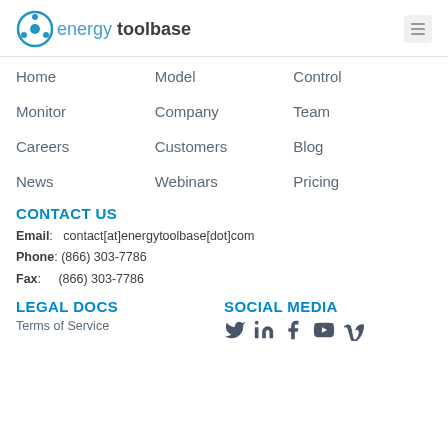[Figure (logo): Energy Toolbase logo with circular icon and text]
Home
Model
Control
Monitor
Company
Team
Careers
Customers
Blog
News
Webinars
Pricing
CONTACT US
Email: contact[at]energytoolbase[dot]com
Phone: (866) 303-7786
Fax: (866) 303-7786
LEGAL DOCS
SOCIAL MEDIA
Terms of Service
[Figure (illustration): Social media icons: Twitter, LinkedIn, Facebook, YouTube, Vimeo]